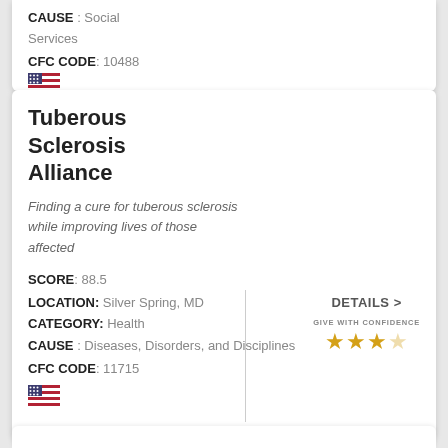CAUSE : Social Services
CFC CODE: 10488
Tuberous Sclerosis Alliance
Finding a cure for tuberous sclerosis while improving lives of those affected
SCORE: 88.5
LOCATION: Silver Spring, MD
CATEGORY: Health
CAUSE : Diseases, Disorders, and Disciplines
CFC CODE: 11715
DETAILS >
GIVE WITH CONFIDENCE ★★★☆